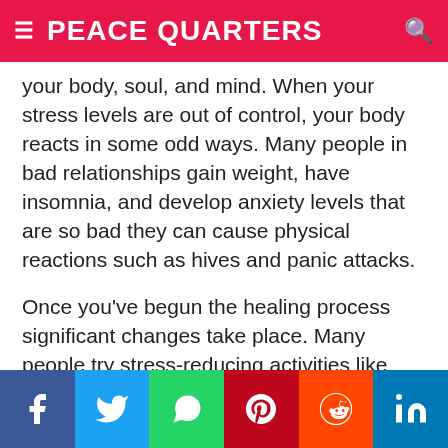PEACE QUARTERS
your body, soul, and mind. When your stress levels are out of control, your body reacts in some odd ways. Many people in bad relationships gain weight, have insomnia, and develop anxiety levels that are so bad they can cause physical reactions such as hives and panic attacks.
Once you've begun the healing process significant changes take place. Many people try stress-reducing activities like massage therapy, daily exercise, meditation or yoga.
Social share bar: Facebook, Twitter, WhatsApp, Pinterest, Reddit, LinkedIn